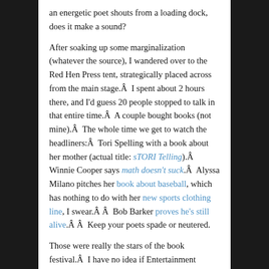an energetic poet shouts from a loading dock, does it make a sound?
After soaking up some marginalization (whatever the source), I wandered over to the Red Hen Press tent, strategically placed across from the main stage.Â  I spent about 2 hours there, and I'd guess 20 people stopped to talk in that entire time.Â  A couple bought books (not mine).Â  The whole time we get to watch the headliners:Â  Tori Spelling with a book about her mother (actual title: sTORI Telling).Â  Winnie Cooper says math doesn't suck.Â  Alyssa Milano pitches her book about baseball, which has nothing to do with her new sports clothing line, I swear.Â Â  Bob Barker proves he's still alive.Â Â  Keep your poets spade or neutered.
Those were really the stars of the book festival.Â  I have no idea if Entertainment Tonight now dominates the publishing industry, or if this is an LA thing — I've never been to a major book festival anywhere else.Â  (AWP is only major for English majors.)